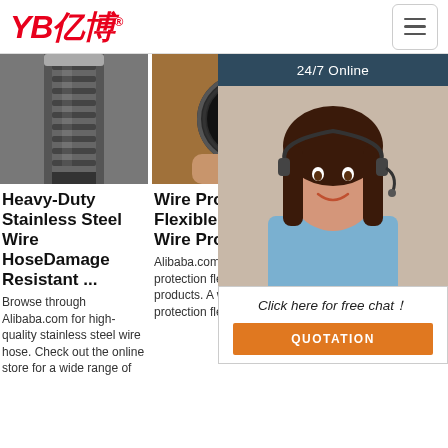YB亿博® — navigation header with hamburger menu
[Figure (photo): Heavy-duty stainless steel wire hose product photo — metallic corrugated hose fitting]
Heavy-Duty Stainless Steel Wire HoseDamage Resistant ...
Browse through Alibaba.com for high-quality stainless steel wire hose. Check out the online store for a wide range of
[Figure (photo): Wire protection flexible metal hose product photo — hand holding braided flexible hose]
Wire Protection Flexible Metal Hose, Wire Protection ...
Alibaba.com offers 1,905 wire protection flexible metal hose products. A wide variety of wire protection flexible
[Figure (photo): Stainless steel wire braided flexible bellow expansion joint product photo — dark metallic fitting]
Sta Wi Fle Be Ex
China Stainless Steel Wire Braided Flexible Bellow Expansion Joint Corrugated Metal Hose, Find details about China Bellow
[Figure (photo): 24/7 Online chat agent — smiling woman with headset, with chat overlay showing 'Click here for free chat!' and QUOTATION button]